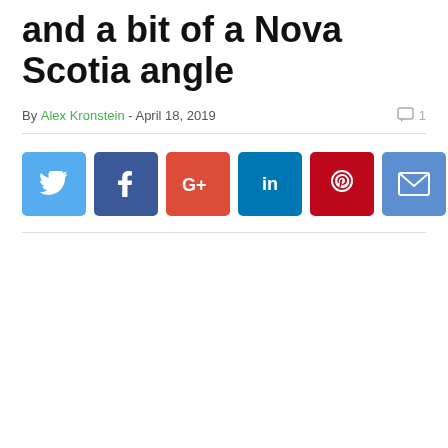and a bit of a Nova Scotia angle
By Alex Kronstein - April 18, 2019   💬 1
[Figure (infographic): Row of social sharing buttons: Twitter (blue), Facebook (dark blue), Google+ (red-orange), LinkedIn (blue), Pinterest (dark red), Email (blue)]